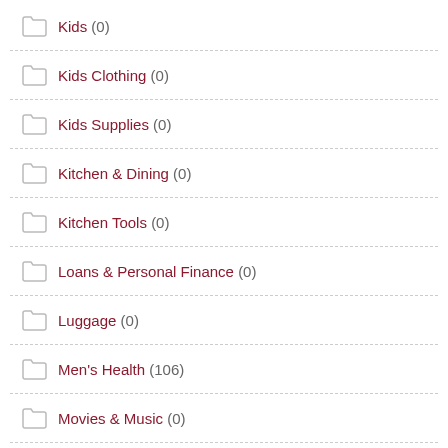Kids (0)
Kids Clothing (0)
Kids Supplies (0)
Kitchen & Dining (0)
Kitchen Tools (0)
Loans & Personal Finance (0)
Luggage (0)
Men's Health (106)
Movies & Music (0)
Musical Instruments (0)
Office & Professional Services (0)